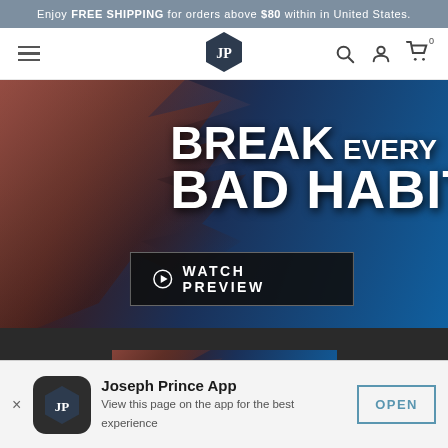Enjoy FREE SHIPPING for orders above $80 within in United States.
[Figure (logo): JP hexagon logo in navigation bar with hamburger menu, search icon, user icon, and cart icon showing 0 items]
[Figure (screenshot): Hero banner image: 'BREAK EVERY BAD HABIT' text over exploding shards on blue background with a WATCH PREVIEW button]
[Figure (screenshot): Thumbnail of the 'BREAK EVERY BAD HABIT' product image]
Joseph Prince App
View this page on the app for the best experience
OPEN